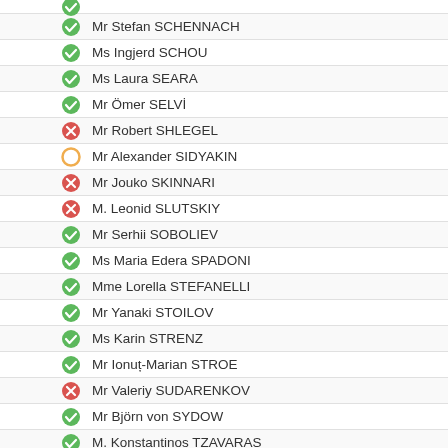Mr Stefan SCHENNACH
Ms Ingjerd SCHOU
Ms Laura SEARA
Mr Ömer SELVİ
Mr Robert SHLEGEL
Mr Alexander SIDYAKIN
Mr Jouko SKINNARI
M. Leonid SLUTSKIY
Mr Serhii SOBOLIEV
Ms Maria Edera SPADONI
Mme Lorella STEFANELLI
Mr Yanaki STOILOV
Ms Karin STRENZ
Mr Ionuț-Marian STROE
Mr Valeriy SUDARENKOV
Mr Björn von SYDOW
M. Konstantinos TZAVARAS